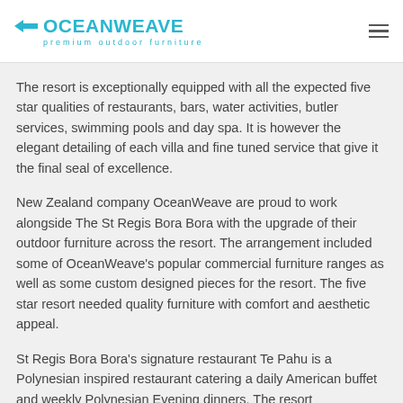OceanWeave premium outdoor furniture
The resort is exceptionally equipped with all the expected five star qualities of restaurants, bars, water activities, butler services, swimming pools and day spa. It is however the elegant detailing of each villa and fine tuned service that give it the final seal of excellence.
New Zealand company OceanWeave are proud to work alongside The St Regis Bora Bora with the upgrade of their outdoor furniture across the resort. The arrangement included some of OceanWeave’s popular commercial furniture ranges as well as some custom designed pieces for the resort. The five star resort needed quality furniture with comfort and aesthetic appeal.
St Regis Bora Bora’s signature restaurant Te Pahu is a Polynesian inspired restaurant catering a daily American buffet and weekly Polynesian Evening dinners. The resort